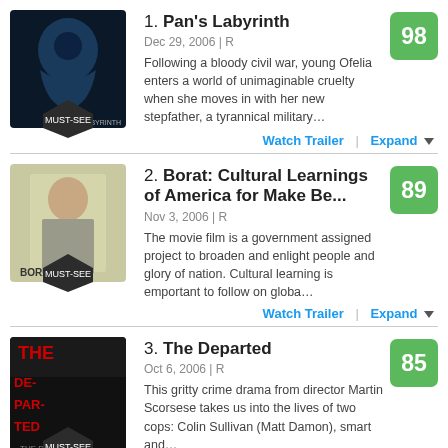1. Pan's Labyrinth | Dec 29, 2006 | R | Score: 98 | Following a bloody civil war, young Ofelia enters a world of unimaginable cruelty when she moves in with her new stepfather, a tyrannical military…
2. Borat: Cultural Learnings of America for Make Be... | Nov 3, 2006 | R | Score: 89 | The movie film is a government assigned project to broaden and enlight people and glory of nation. Cultural learning is emportant to follow on globa…
3. The Departed | Oct 6, 2006 | R | Score: 85 | This gritty crime drama from director Martin Scorsese takes us into the lives of two cops: Colin Sullivan (Matt Damon), smart and…